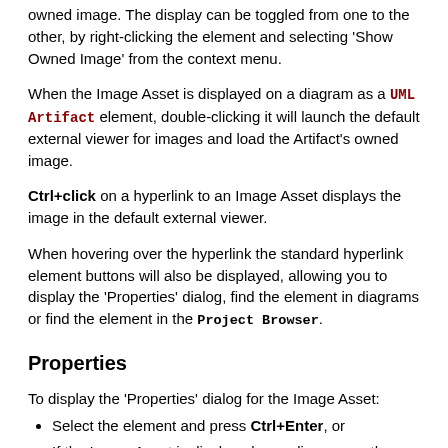owned image. The display can be toggled from one to the other, by right-clicking the element and selecting 'Show Owned Image' from the context menu.
When the Image Asset is displayed on a diagram as a UML Artifact element, double-clicking it will launch the default external viewer for images and load the Artifact's owned image.
Ctrl+click on a hyperlink to an Image Asset displays the image in the default external viewer.
When hovering over the hyperlink the standard hyperlink element buttons will also be displayed, allowing you to display the 'Properties' dialog, find the element in diagrams or find the element in the Project Browser.
Properties
To display the 'Properties' dialog for the Image Asset:
Select the element and press Ctrl+Enter, or
If the Image Asset is displayed on a diagram as the image, double-click on it, or